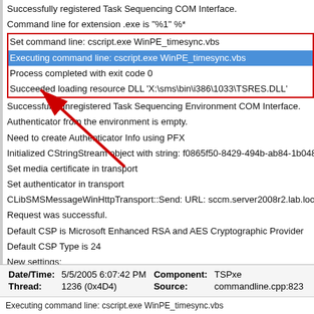Successfully registered Task Sequencing COM Interface.
Command line for extension .exe is "%1" %*
Set command line: cscript.exe WinPE_timesync.vbs
Executing command line: cscript.exe WinPE_timesync.vbs
Process completed with exit code 0
Succeeded loading resource DLL 'X:\sms\bin\i386\1033\TSRES.DLL'
Successfully unregistered Task Sequencing Environment COM Interface.
Authenticator from the environment is empty.
Need to create Authenticator Info using PFX
Initialized CStringStream object with string: f0865f50-8429-494b-ab84-1b0483...
Set media certificate in transport
Set authenticator in transport
CLibSMSMessageWinHttpTransport::Send: URL: sccm.server2008r2.lab.local:8...
Request was successful.
Default CSP is Microsoft Enhanced RSA and AES Cryptographic Provider
Default CSP Type is 24
New settings:
site=P01,P01, MP=http://sccm.server2008r2.lab.local, ports: http=80,https=...
| Date/Time: | 5/5/2005 6:07:42 PM | Component: | TSPxe |
| --- | --- | --- | --- |
| Thread: | 1236 (0x4D4) | Source: | commandline.cpp:823 |
Executing command line: cscript.exe WinPE_timesync.vbs